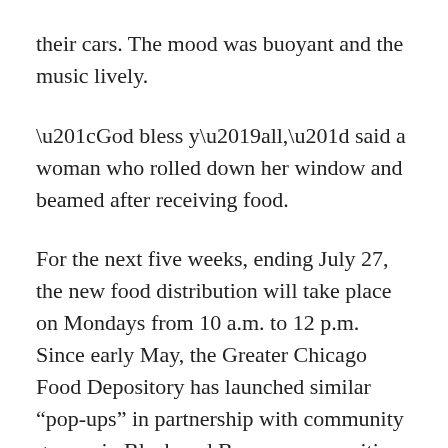their cars. The mood was buoyant and the music lively.
“God bless y’all,” said a woman who rolled down her window and beamed after receiving food.
For the next five weeks, ending July 27, the new food distribution will take place on Mondays from 10 a.m. to 12 p.m. Since early May, the Greater Chicago Food Depository has launched similar “pop-ups” in partnership with community groups in Black and Brown communities on Chicago’s South and West Sides that have been hit hard by the combination of COVID-19 and increasing food insecurity.